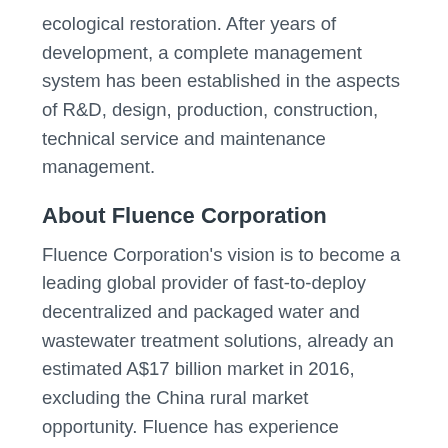ecological restoration. After years of development, a complete management system has been established in the aspects of R&D, design, production, construction, technical service and maintenance management.
About Fluence Corporation
Fluence Corporation's vision is to become a leading global provider of fast-to-deploy decentralized and packaged water and wastewater treatment solutions, already an estimated A$17 billion market in 2016, excluding the China rural market opportunity. Fluence has experience operating in over 70 countries worldwide and employs more than 300 highly